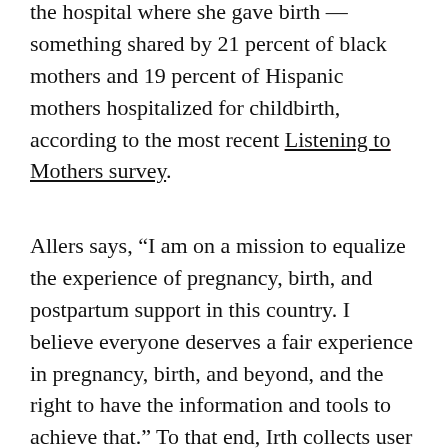the hospital where she gave birth — something shared by 21 percent of black mothers and 19 percent of Hispanic mothers hospitalized for childbirth, according to the most recent Listening to Mothers survey.
Allers says, “I am on a mission to equalize the experience of pregnancy, birth, and postpartum support in this country. I believe everyone deserves a fair experience in pregnancy, birth, and beyond, and the right to have the information and tools to achieve that.” To that end, Irth collects user experiences filtered by race, ethnicity, sexual orientation, gender identification, income, and more. It also features a content community, providing users with information, tools, and resources based on exactly who they are and what they need. Irth, which has